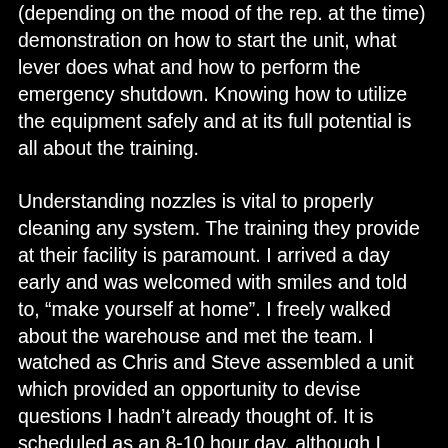(depending on the mood of the rep. at the time) demonstration on how to start the unit, what lever does what and how to perform the emergency shutdown. Knowing how to utilize the equipment safely and at its full potential is all about the training.
Understanding nozzles is vital to properly cleaning any system. The training they provide at their facility is paramount. I arrived a day early and was welcomed with smiles and told to, “make yourself at home”. I freely walked about the warehouse and met the team. I watched as Chris and Steve assembled a unit which provided an opportunity to devise questions I hadn’t already thought of. It is scheduled as an 8-10 hour day, although I milked it for a full 16 hours of in-depth training and it covers everything from equipment operation and maintenance to efficiency of nozzle selection and even covers